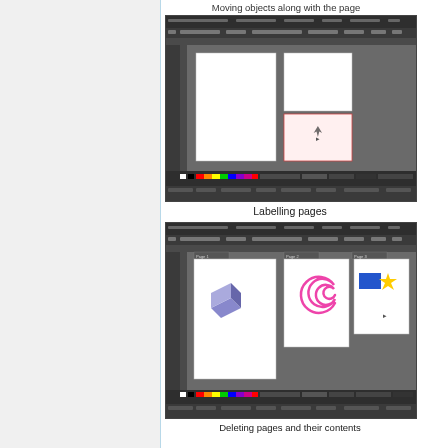Moving objects along with the page
[Figure (screenshot): Screenshot of a vector graphics editor showing three pages/panels in the canvas area - two white pages on left and a pinkish page on right]
Labelling pages
[Figure (screenshot): Screenshot of a vector graphics editor showing three pages: first with a 3D cube illustration, second with a pink spiral, third with a blue rectangle and yellow star]
Deleting pages and their contents